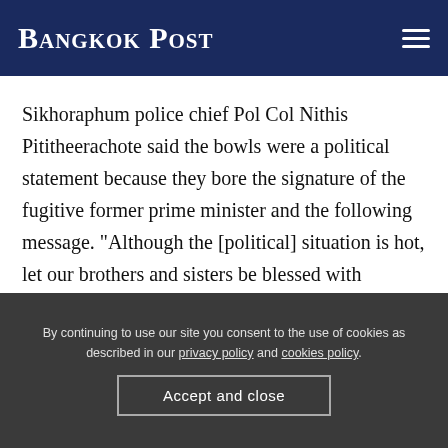Bangkok Post
Sikhoraphum police chief Pol Col Nithis Pititheerachote said the bowls were a political statement because they bore the signature of the fugitive former prime minister and the following message. "Although the [political] situation is hot, let our brothers and sisters be blessed with coolness flowing from this bowl. Happy Songkran."
By continuing to use our site you consent to the use of cookies as described in our privacy policy and cookies policy. Accept and close